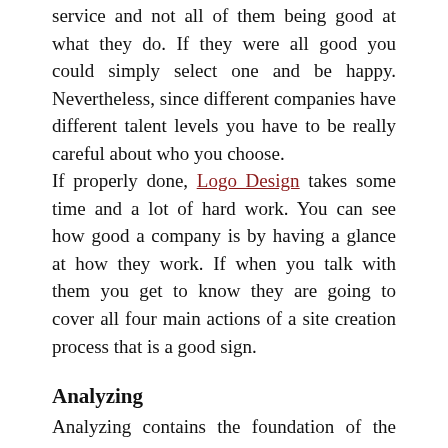service and not all of them being good at what they do. If they were all good you could simply select one and be happy. Nevertheless, since different companies have different talent levels you have to be really careful about who you choose.
If properly done, Logo Design takes some time and a lot of hard work. You can see how good a company is by having a glance at how they work. If when you talk with them you get to know they are going to cover all four main actions of a site creation process that is a good sign.
Analyzing
Analyzing contains the foundation of the project. This action contains all that needs to be done in order to create the best site you want to have. The